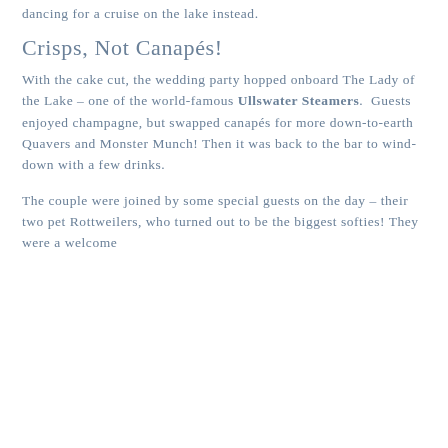dancing for a cruise on the lake instead.
Crisps, Not Canapés!
With the cake cut, the wedding party hopped onboard The Lady of the Lake – one of the world-famous Ullswater Steamers.  Guests enjoyed champagne, but swapped canapés for more down-to-earth Quavers and Monster Munch! Then it was back to the bar to wind-down with a few drinks.
The couple were joined by some special guests on the day – their two pet Rottweilers, who turned out to be the biggest softies! They were a welcome